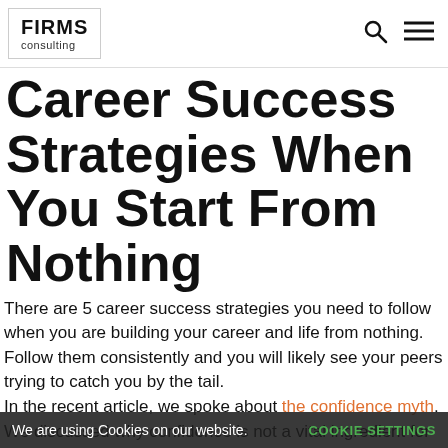FIRMS consulting
Career Success Strategies When You Start From Nothing
There are 5 career success strategies you need to follow when you are building your career and life from nothing. Follow them consistently and you will likely see your peers trying to catch you by the tail.
In the recent article, we spoke about the confidence myth. We discussed why confidence is not a vital ingredient for success, despite popular belief. In this article, lets dive deeper into what is a recipe for career success, especially if you are starting with nothing.
We are using Cookies on our website.  COOKIE SETTINGS